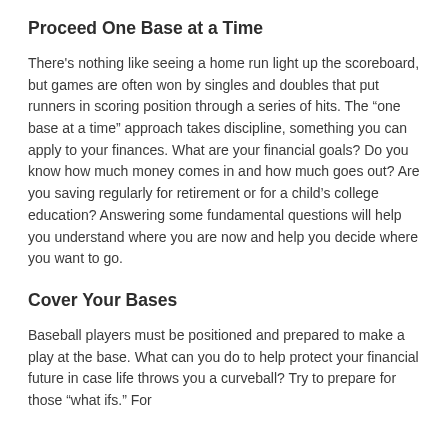Proceed One Base at a Time
There's nothing like seeing a home run light up the scoreboard, but games are often won by singles and doubles that put runners in scoring position through a series of hits. The “one base at a time” approach takes discipline, something you can apply to your finances. What are your financial goals? Do you know how much money comes in and how much goes out? Are you saving regularly for retirement or for a child’s college education? Answering some fundamental questions will help you understand where you are now and help you decide where you want to go.
Cover Your Bases
Baseball players must be positioned and prepared to make a play at the base. What can you do to help protect your financial future in case life throws you a curveball? Try to prepare for those “what ifs.” For